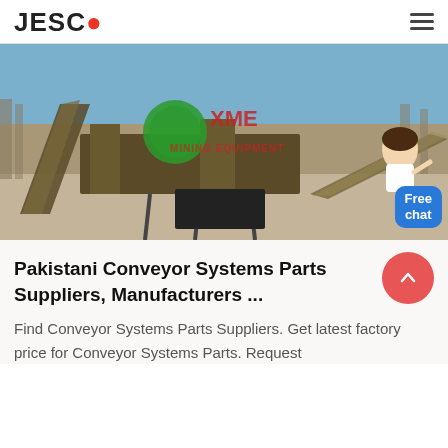JESCO
[Figure (photo): Industrial conveyor system / screening machine at an outdoor quarry site. Green XME logo and watermark visible on image. A female assistant figure and blue 'Free chat' button overlay in bottom-right corner.]
Pakistani Conveyor Systems Parts Suppliers, Manufacturers ...
Find Conveyor Systems Parts Suppliers. Get latest factory price for Conveyor Systems Parts. Request